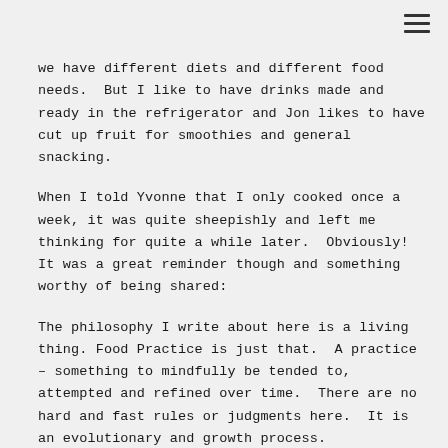we have different diets and different food needs.  But I like to have drinks made and ready in the refrigerator and Jon likes to have cut up fruit for smoothies and general snacking.
When I told Yvonne that I only cooked once a week, it was quite sheepishly and left me thinking for quite a while later.  Obviously!  It was a great reminder though and something worthy of being shared:
The philosophy I write about here is a living thing. Food Practice is just that.  A practice – something to mindfully be tended to, attempted and refined over time.  There are no hard and fast rules or judgments here.  It is an evolutionary and growth process.